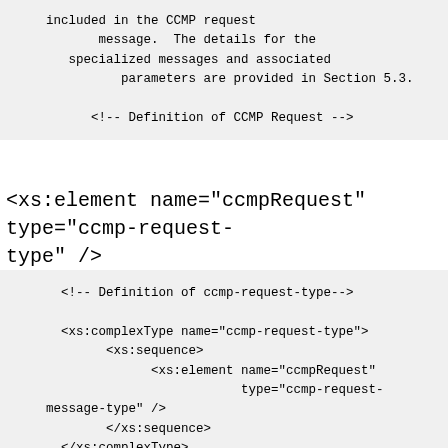included in the CCMP request
       message.  The details for the
   specialized messages and associated
          parameters are provided in Section 5.3.

      <!-- Definition of CCMP Request -->
<xs:element name="ccmpRequest" type="ccmp-request-type" />
<!-- Definition of ccmp-request-type-->

      <xs:complexType name="ccmp-request-type">
            <xs:sequence>
                  <xs:element name="ccmpRequest"
                              type="ccmp-request-
    message-type" />
            </xs:sequence>
      </xs:complexType>

        <!--  Definition of ccmp-request-message-